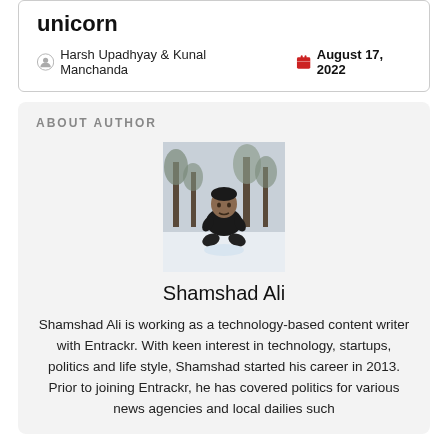unicorn
Harsh Upadhyay & Kunal Manchanda   August 17, 2022
ABOUT AUTHOR
[Figure (photo): Photo of Shamshad Ali crouching in snow outdoors, wearing dark clothing, with trees in the background.]
Shamshad Ali
Shamshad Ali is working as a technology-based content writer with Entrackr. With keen interest in technology, startups, politics and life style, Shamshad started his career in 2013. Prior to joining Entrackr, he has covered politics for various news agencies and local dailies such